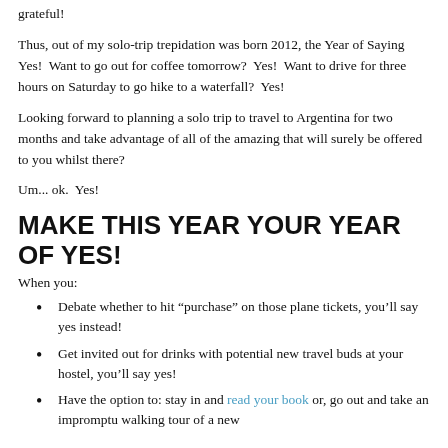grateful!
Thus, out of my solo-trip trepidation was born 2012, the Year of Saying Yes!  Want to go out for coffee tomorrow?  Yes!  Want to drive for three hours on Saturday to go hike to a waterfall?  Yes!
Looking forward to planning a solo trip to travel to Argentina for two months and take advantage of all of the amazing that will surely be offered to you whilst there?
Um... ok.  Yes!
MAKE THIS YEAR YOUR YEAR OF YES!
When you:
Debate whether to hit “purchase” on those plane tickets, you’ll say yes instead!
Get invited out for drinks with potential new travel buds at your hostel, you’ll say yes!
Have the option to: stay in and read your book or, go out and take an impromptu walking tour of a new